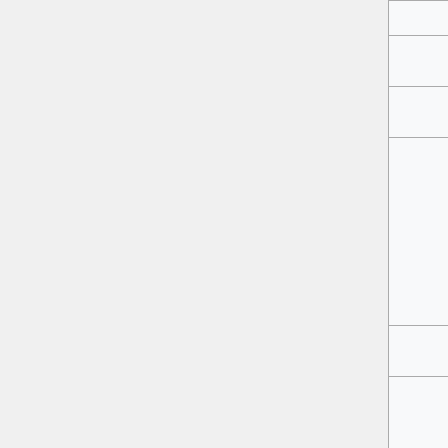|  | 22:30, 10 March 2022 | (358 |
|  | 17:43, 3 March 2022 | (359 |
|  | 00:34, 3 March 2022 | (254 |
|  | 15:21, 26 January 2022 | (254 |
|  | 15:18, 26 January 2022 | (250 |
|  | 15:17, 26 January 2022 | (254 |
|  | 15:16, 26 January 2022 | (250 |